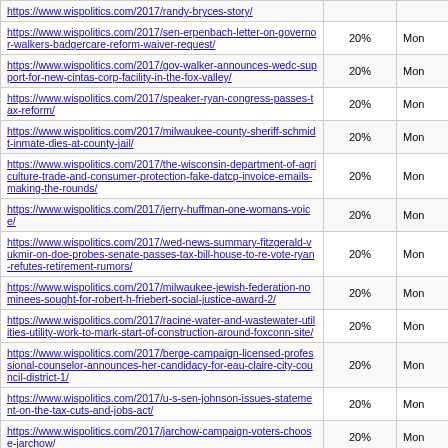| URL | Percentage | Type |
| --- | --- | --- |
| https://www.wispolitics.com/2017/randy-bryces-story/ | 20% | Mon |
| https://www.wispolitics.com/2017/sen-erpenbach-letter-on-governor-walkers-badgercare-reform-waiver-request/ | 20% | Mon |
| https://www.wispolitics.com/2017/gov-walker-announces-wedc-support-for-new-cintas-corp-facility-in-the-fox-valley/ | 20% | Mon |
| https://www.wispolitics.com/2017/speaker-ryan-congress-passes-tax-reform/ | 20% | Mon |
| https://www.wispolitics.com/2017/milwaukee-county-sheriff-schmidt-inmate-dies-at-county-jail/ | 20% | Mon |
| https://www.wispolitics.com/2017/the-wisconsin-department-of-agriculture-trade-and-consumer-protection-fake-datcp-invoice-emails-making-the-rounds/ | 20% | Mon |
| https://www.wispolitics.com/2017/jerry-huffman-one-womans-voice/ | 20% | Mon |
| https://www.wispolitics.com/2017/wed-news-summary-fitzgerald-vukmir-on-doe-probes-senate-passes-tax-bill-house-to-re-vote-ryan-refutes-retirement-rumors/ | 20% | Mon |
| https://www.wispolitics.com/2017/milwaukee-jewish-federation-nominees-sought-for-robert-h-friebert-social-justice-award-2/ | 20% | Mon |
| https://www.wispolitics.com/2017/racine-water-and-wastewater-utilities-utility-work-to-mark-start-of-construction-around-foxconn-site/ | 20% | Mon |
| https://www.wispolitics.com/2017/berge-campaign-licensed-professional-counselor-announces-her-candidacy-for-eau-claire-city-council-district-1/ | 20% | Mon |
| https://www.wispolitics.com/2017/u-s-sen-johnson-issues-statement-on-the-tax-cuts-and-jobs-act/ | 20% | Mon |
| https://www.wispolitics.com/2017/jarchow-campaign-voters-choose-jarchow/ | 20% | Mon |
| https://www.wispolitics.com/2017/wisgop-wisconsin-republicans-pass-massive-tax-cut-for-hard-working-families/ | 20% | Mon |
| https://www.wispolitics.com/2017/u-s-sen-baldwin-issues-statement-on-republican-tax-legislation/ | 20% | Mon |
| https://www.wispolitics.com/2017/u-s-rep-moore-gop-tax-scam-another-gift-to-corporations/ | 20% | Mon |